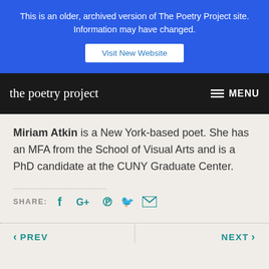This is an older, archived version of The Poetry Project site. Information may have changed.
Visit New Website
[Figure (logo): The Poetry Project logo in cursive white text on black navigation bar]
MENU
Miriam Atkin is a New York-based poet. She has an MFA from the School of Visual Arts and is a PhD candidate at the CUNY Graduate Center.
SHARE: (Facebook, Google+, Pinterest, Twitter, Email icons)
‹ PREV
NEXT ›